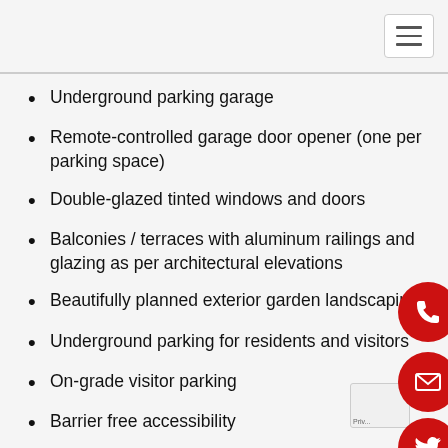Navigation menu
Underground parking garage
Remote-controlled garage door opener (one per parking space)
Double-glazed tinted windows and doors
Balconies / terraces with aluminum railings and glazing as per architectural elevations
Beautifully planned exterior garden landscaping
Underground parking for residents and visitors
On-grade visitor parking
Barrier free accessibility
Drop-off and pick-up areas at entrance
Convenient mail room located just off Lobby